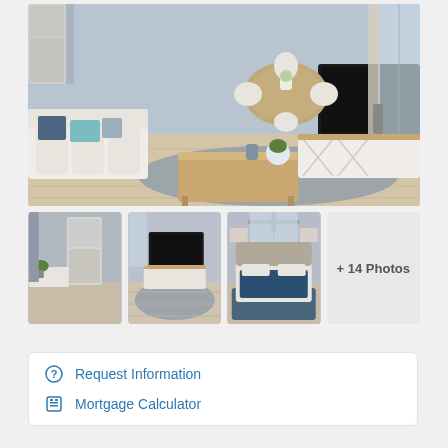[Figure (photo): Main interior photo of a living/dining room with white sofa, blue/teal accent pillows, wood coffee table, round dining table with upholstered chairs, TV on a white media console, light wood floors, and gray-blue walls.]
[Figure (photo): Thumbnail: kitchen hallway with stainless steel refrigerator, white countertops, and green plant.]
[Figure (photo): Thumbnail: living room from another angle showing TV on media console and patterned rug.]
[Figure (photo): Thumbnail: bedroom with ceiling fan, upholstered headboard, blue bedding, blue rug, and framed art on wall.]
+ 14 Photos
Request Information
Mortgage Calculator